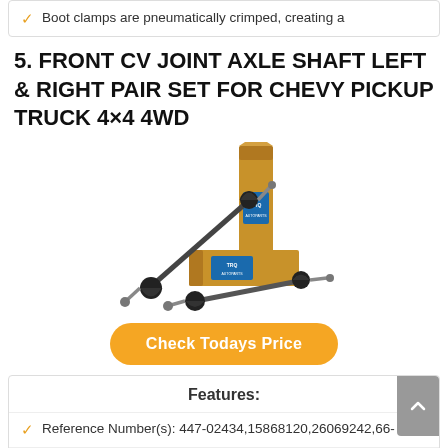Boot clamps are pneumatically crimped, creating a
5. FRONT CV JOINT AXLE SHAFT LEFT & RIGHT PAIR SET FOR CHEVY PICKUP TRUCK 4×4 4WD
[Figure (photo): Product photo of two CV joint axle shafts with TRQ branded boxes (orange/tan cardboard packaging)]
Check Todays Price
Features:
Reference Number(s): 447-02434,15868120,26069242,66-
Quantity: 2 Piece